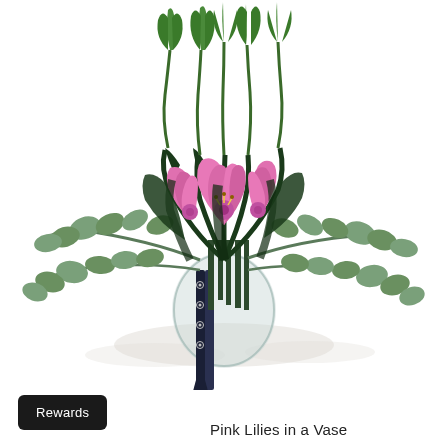[Figure (photo): A floral arrangement of pink lilies with green buds and eucalyptus leaves in a clear glass round vase tied with a dark navy ribbon featuring white circular patterns.]
Rewards
Pink Lilies in a Vase